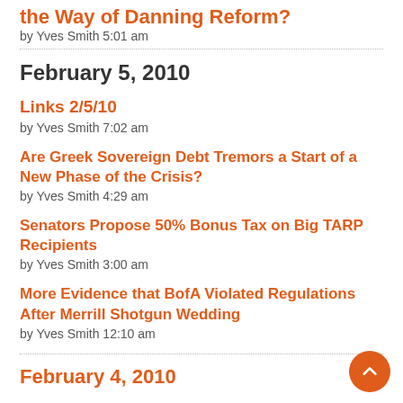the Way of Danning Reform?
by Yves Smith 5:01 am
February 5, 2010
Links 2/5/10
by Yves Smith 7:02 am
Are Greek Sovereign Debt Tremors a Start of a New Phase of the Crisis?
by Yves Smith 4:29 am
Senators Propose 50% Bonus Tax on Big TARP Recipients
by Yves Smith 3:00 am
More Evidence that BofA Violated Regulations After Merrill Shotgun Wedding
by Yves Smith 12:10 am
February 4, 2010